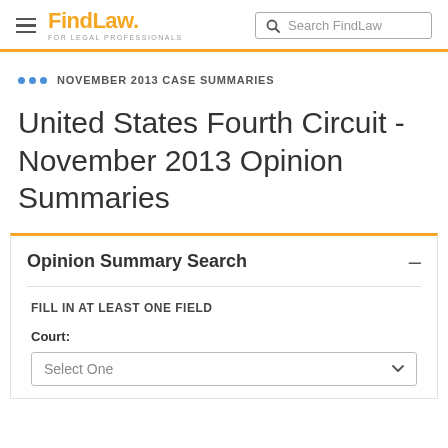FindLaw FOR LEGAL PROFESSIONALS | Search FindLaw
NOVEMBER 2013 CASE SUMMARIES
United States Fourth Circuit - November 2013 Opinion Summaries
Opinion Summary Search
FILL IN AT LEAST ONE FIELD
Court:
Select One